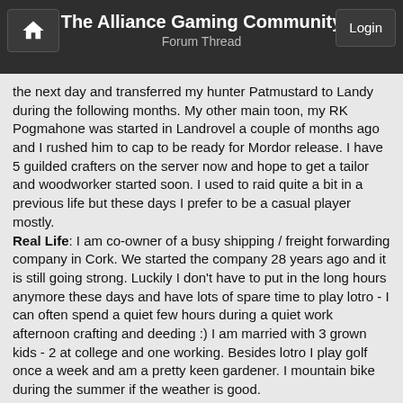The Alliance Gaming Community
Forum Thread
the next day and transferred my hunter Patmustard to Landy during the following months. My other main toon, my RK Pogmahone was started in Landrovel a couple of months ago and I rushed him to cap to be ready for Mordor release. I have 5 guilded crafters on the server now and hope to get a tailor and woodworker started soon. I used to raid quite a bit in a previous life but these days I prefer to be a casual player mostly.
Real Life: I am co-owner of a busy shipping / freight forwarding company in Cork. We started the company 28 years ago and it is still going strong. Luckily I don't have to put in the long hours anymore these days and have lots of spare time to play lotro - I can often spend a quiet few hours during a quiet work afternoon crafting and deeding :) I am married with 3 grown kids - 2 at college and one working. Besides lotro I play golf once a week and am a pretty keen gardener. I mountain bike during the summer if the weather is good.
Contact me: Have always been known as Pog in the game. When I landed on this server Pogmahone was taken so I was delighted when the name became free a few months ago, which was when I started my RK. Mostly these days I will be on Pogmahone.